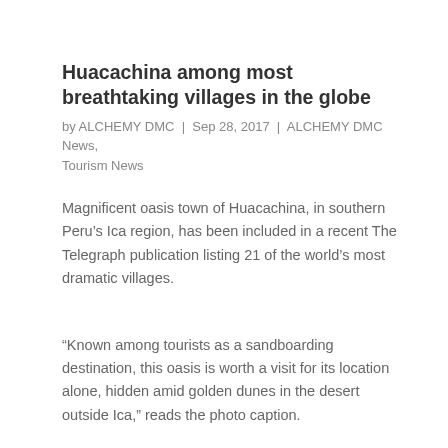Huacachina among most breathtaking villages in the globe
by ALCHEMY DMC | Sep 28, 2017 | ALCHEMY DMC News, Tourism News
Magnificent oasis town of Huacachina, in southern Peru’s Ica region, has been included in a recent The Telegraph publication listing 21 of the world’s most dramatic villages.
“Known among tourists as a sandboarding destination, this oasis is worth a visit for its location alone, hidden amid golden dunes in the desert outside Ica,” reads the photo caption.
Besides Huacachina, the photo gallery includes other 20